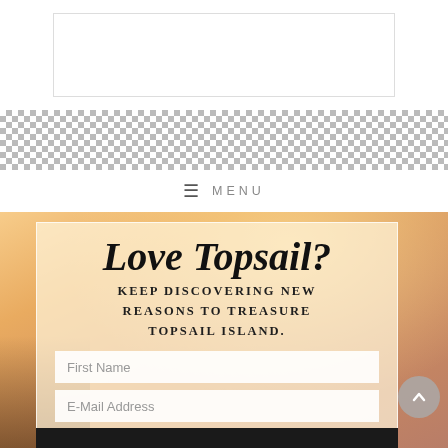[Figure (other): White logo/header box area at top of page]
[Figure (photo): Checkered/transparent background area below logo box]
≡ MENU
[Figure (photo): Beach sunset background photo with warm orange and golden tones]
Love Topsail?
KEEP DISCOVERING NEW REASONS TO TREASURE TOPSAIL ISLAND.
First Name
E-Mail Address